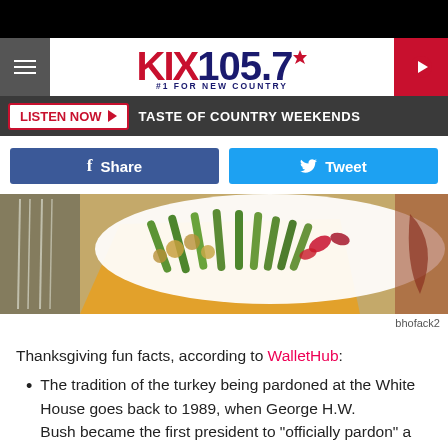[Figure (screenshot): KIX 105.7 radio station website header with logo, navigation hamburger menu, red play button, and Listen Now bar with TASTE OF COUNTRY WEEKENDS text]
[Figure (photo): Food photo showing a white plate with green beans, stuffing, and red peppers on a burlap background with yellow napkin and forks]
bhofack2
Thanksgiving fun facts, according to WalletHub:
The tradition of the turkey being pardoned at the White House goes back to 1989, when George H.W. Bush became the first president to "officially pardon" a